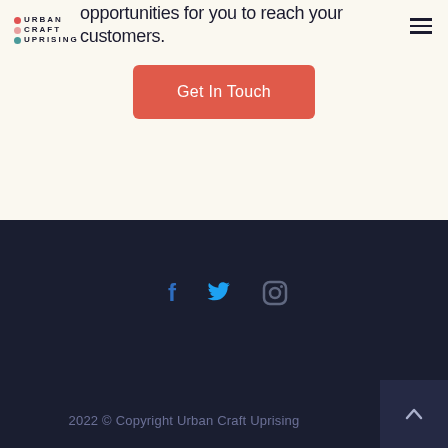Urban Craft Uprising
opportunities for you to reach your customers.
Get In Touch
[Figure (logo): Urban Craft Uprising logo with colored dots and stacked text]
[Figure (infographic): Social media icons: Facebook (f), Twitter (bird), Instagram (camera)]
2022 © Copyright Urban Craft Uprising